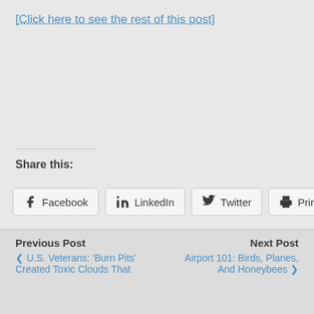[Click here to see the rest of this post]
Share this:
Facebook  LinkedIn  Twitter  Print
Like this:
Loading...
Previous Post  U.S. Veterans: 'Burn Pits' Created Toxic Clouds That ... | Next Post  Airport 101: Birds, Planes, And Honeybees